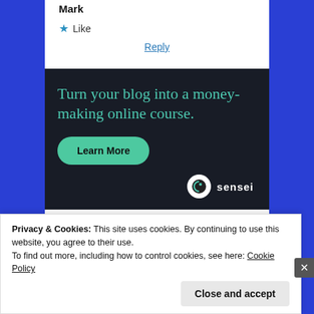Mark
★ Like
Reply
[Figure (infographic): Dark background advertisement banner: 'Turn your blog into a money-making online course.' with a teal 'Learn More' button and Sensei logo at bottom right.]
Privacy & Cookies: This site uses cookies. By continuing to use this website, you agree to their use.
To find out more, including how to control cookies, see here: Cookie Policy
Close and accept